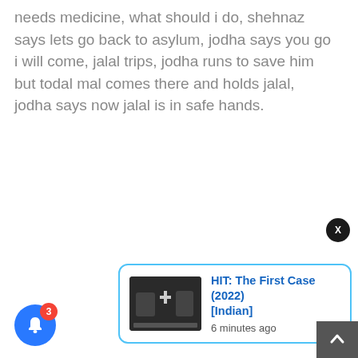needs medicine, what should i do, shehnaz says lets go back to asylum, jodha says you go i will come, jalal trips, jodha runs to save him but todal mal comes there and holds jalal, jodha says now jalal is in safe hands.
[Figure (screenshot): Notification popup card for 'HIT: The First Case (2022) [Indian]' with movie thumbnail and '6 minutes ago' timestamp, with a blue border, shown alongside a blue bell icon button with red badge showing '3', an X close button, and a scroll-to-top arrow button.]